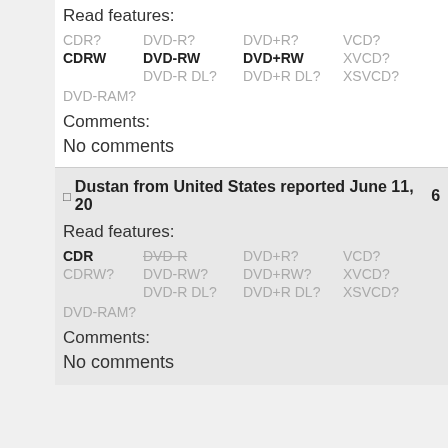Read features:
CDR? DVD-R? DVD+R? VCD? SVCD? MP3? CDRW DVD-RW DVD+RW XVCD? SVCDSubs? DVD-R DL? DVD+R DL? XSVCD? SVCDTracks? CVD? DVD-RAM?
Comments:
No comments
Dustan from United States reported June 11, 200...
Read features:
CDR DVD-R DVD+R? VCD? SVCD MP3? CDRW? DVD-RW? DVD+RW? XVCD? SVCDSubs? DVD-R DL? DVD+R DL? XSVCD? SVCDTracks? CVD? DVD-RAM?
Comments:
No comments